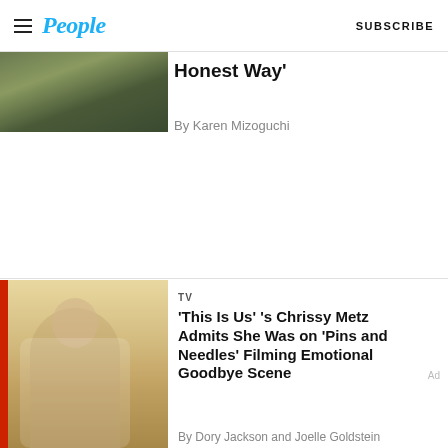People | SUBSCRIBE
[Figure (photo): Partially cropped photo of people outdoors with green/nature background]
Honest Way'
By Karen Mizoguchi
[Figure (photo): Photo of Chrissy Metz seated indoors wearing a floral dress]
TV
'This Is Us' 's Chrissy Metz Admits She Was on 'Pins and Needles' Filming Emotional Goodbye Scene
By Dory Jackson and Joelle Goldstein